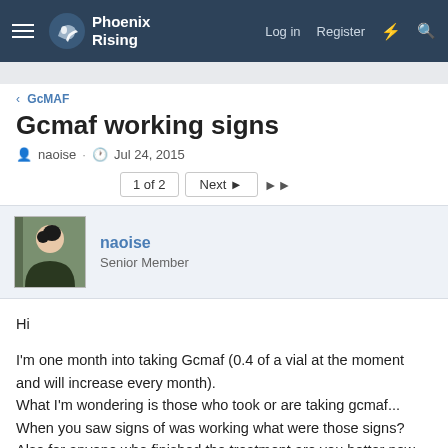Phoenix Rising — Log in  Register
GcMAF
Gcmaf working signs
naoise · Jul 24, 2015
1 of 2  Next ▶  ▶▶
naoise
Senior Member
Hi

I'm one month into taking Gcmaf (0.4 of a vial at the moment and will increase every month).
What I'm wondering is those who took or are taking gcmaf...
When you saw signs of was working what were those signs?
Also for anyone who finished the treatment are you better now and loving a normal life?